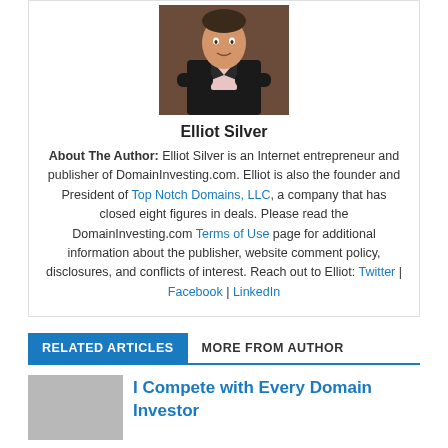[Figure (photo): Headshot photo of Elliot Silver in a dark suit with arms crossed]
Elliot Silver
About The Author: Elliot Silver is an Internet entrepreneur and publisher of DomainInvesting.com. Elliot is also the founder and President of Top Notch Domains, LLC, a company that has closed eight figures in deals. Please read the DomainInvesting.com Terms of Use page for additional information about the publisher, website comment policy, disclosures, and conflicts of interest. Reach out to Elliot: Twitter | Facebook | LinkedIn
RELATED ARTICLES  MORE FROM AUTHOR
I Compete with Every Domain Investor